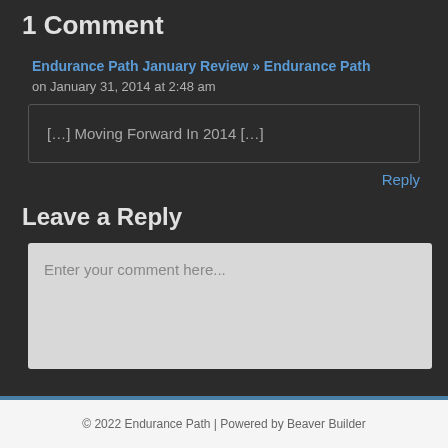1 Comment
Endurance Path January Review » Endurance Path
on January 31, 2014 at 2:48 am
[…] Moving Forward In 2014 […]
Reply
Leave a Reply
Enter your comment here...
© 2022 Endurance Path | Powered by Beaver Builder